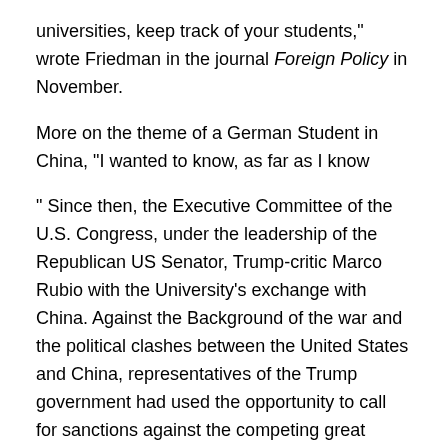universities, keep track of your students," wrote Friedman in the journal Foreign Policy in November.
More on the theme of a German Student in China, "I wanted to know, as far as I know
" Since then, the Executive Committee of the U.S. Congress, under the leadership of the Republican US Senator, Trump-critic Marco Rubio with the University's exchange with China. Against the Background of the war and the political clashes between the United States and China, representatives of the Trump government had used the opportunity to call for sanctions against the competing great power.
You should, however, suggested that the Trump consultant Stephen Miller to leave no single Chinese student in the United States. Their number currently stands at 340,000